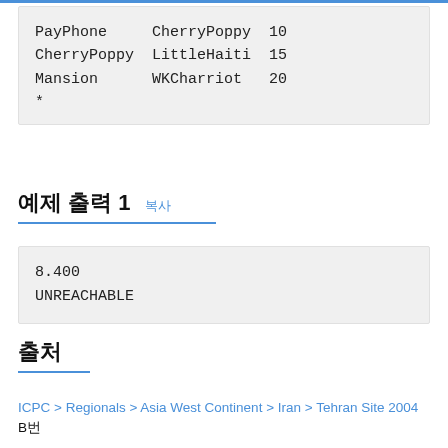| PayPhone | CherryPoppy | 10 |
| CherryPoppy | LittleHaiti | 15 |
| Mansion | WKCharriot | 20 |
| * |  |  |
예제 출력 1 복사
8.400
UNREACHABLE
출처
ICPC > Regionals > Asia West Continent > Iran > Tehran Site 2004 B번